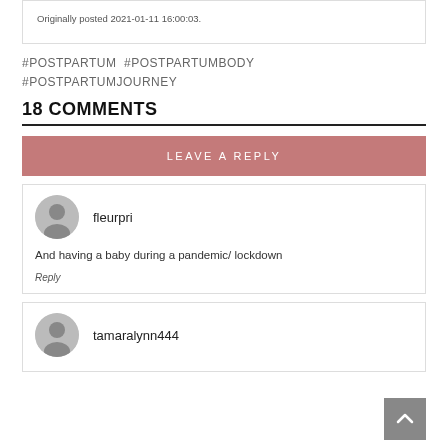Originally posted 2021-01-11 16:00:03.
#POSTPARTUM  #POSTPARTUMBODY
#POSTPARTUMJOURNEY
18 COMMENTS
LEAVE A REPLY
fleurpri
And having a baby during a pandemic/ lockdown
Reply
tamaralynn444